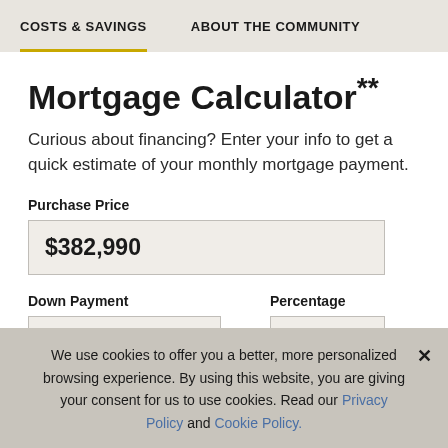COSTS & SAVINGS   ABOUT THE COMMUNITY
Mortgage Calculator**
Curious about financing? Enter your info to get a quick estimate of your monthly mortgage payment.
Purchase Price
$382,990
Down Payment
Percentage
0
0%
We use cookies to offer you a better, more personalized browsing experience. By using this website, you are giving your consent for us to use cookies. Read our Privacy Policy and Cookie Policy.